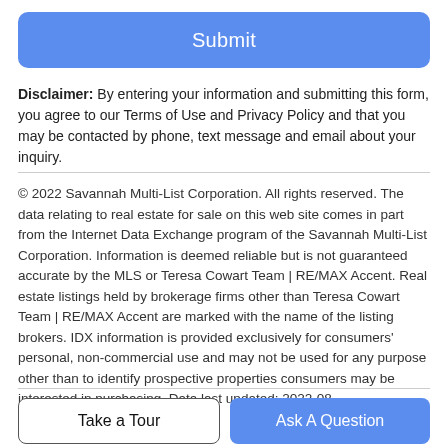[Figure (other): Submit button — blue rounded rectangle with white text 'Submit']
Disclaimer: By entering your information and submitting this form, you agree to our Terms of Use and Privacy Policy and that you may be contacted by phone, text message and email about your inquiry.
© 2022 Savannah Multi-List Corporation. All rights reserved. The data relating to real estate for sale on this web site comes in part from the Internet Data Exchange program of the Savannah Multi-List Corporation. Information is deemed reliable but is not guaranteed accurate by the MLS or Teresa Cowart Team | RE/MAX Accent. Real estate listings held by brokerage firms other than Teresa Cowart Team | RE/MAX Accent are marked with the name of the listing brokers. IDX information is provided exclusively for consumers' personal, non-commercial use and may not be used for any purpose other than to identify prospective properties consumers may be interested in purchasing. Data last updated: 2022-08-30T14:07:38.183.
[Figure (other): Two buttons side by side: 'Take a Tour' (white with border) and 'Ask A Question' (blue)]